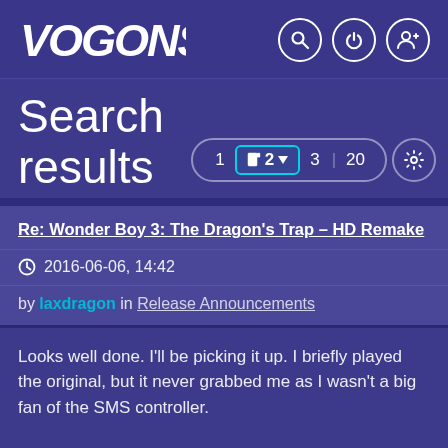VOGONS (logo) with search, power, and user icons
Search results
[Figure (screenshot): Pagination control showing pages 1, 2 (active, with page icon), 3, 20 and a settings gear icon]
Re: Wonder Boy 3: The Dragon's Trap - HD Remake
2016-06-06, 14:42
by laxdragon in Release Announcements
Looks well done. I'll be picking it up. I briefly played the original, but it never grabbed me as I wasn't a big fan of the SMS controller.